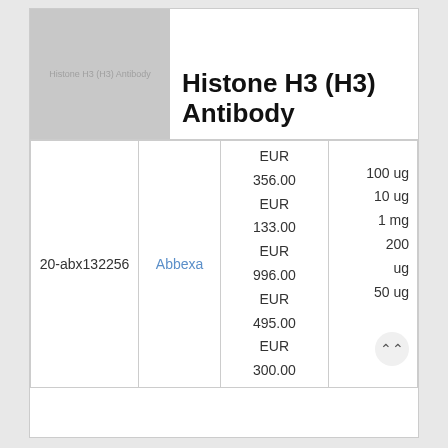[Figure (photo): Placeholder product image with text 'Histone H3 (H3) Antibody' in gray]
Histone H3 (H3) Antibody
| ID | Supplier | Price | Size |
| --- | --- | --- | --- |
| 20-abx132256 | Abbexa | EUR 356.00
EUR 133.00
EUR 996.00
EUR 495.00
EUR 300.00 | 100 ug
10 ug
1 mg
200 ug
50 ug |